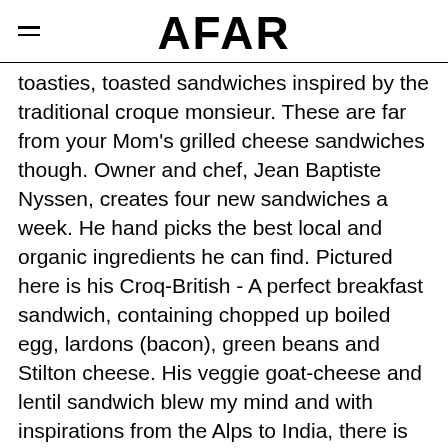AFAR
toasties, toasted sandwiches inspired by the traditional croque monsieur. These are far from your Mom's grilled cheese sandwiches though. Owner and chef, Jean Baptiste Nyssen, creates four new sandwiches a week. He hand picks the best local and organic ingredients he can find. Pictured here is his Croq-British - A perfect breakfast sandwich, containing chopped up boiled egg, lardons (bacon), green beans and Stilton cheese. His veggie goat-cheese and lentil sandwich blew my mind and with inspirations from the Alps to India, there is sure to be a sandwich for you.